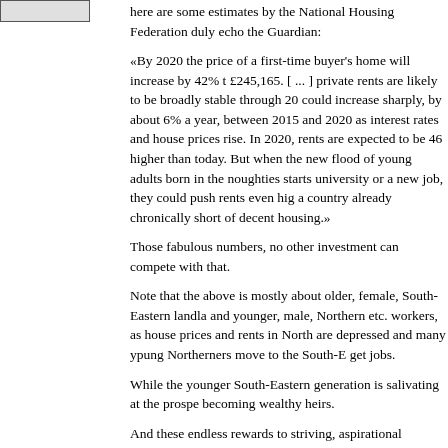[Figure (other): Small rectangular image/logo placeholder in top-left corner]
here are some estimates by the National Housing Federation duly echo the Guardian:
«By 2020 the price of a first-time buyer's home will increase by 42% to £245,165. [ ... ] private rents are likely to be broadly stable through 20 could increase sharply, by about 6% a year, between 2015 and 2020 as interest rates and house prices rise. In 2020, rents are expected to be 46 higher than today. But when the new flood of young adults born in the noughties starts university or a new job, they could push rents even hig a country already chronically short of decent housing.»
Those fabulous numbers, no other investment can compete with that.
Note that the above is mostly about older, female, South-Eastern landla and younger, male, Northern etc. workers, as house prices and rents in North are depressed and many ypung Northerners move to the South-E get jobs.
While the younger South-Eastern generation is salivating at the prospe becoming wealthy heirs.
And these endless rewards to striving, aspirational property ownership essentially government-guaranteed.
Endless as long as there is no Argentine or Mexican tipping point betw now and 2020, in which the South East will come to look like Merseys